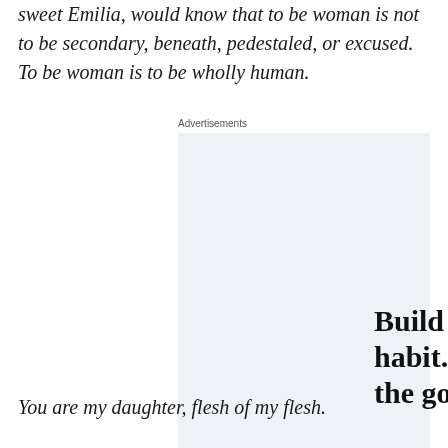sweet Emilia, would know that to be woman is not to be secondary, beneath, pedestaled, or excused. To be woman is to be wholly human.
Advertisements
[Figure (infographic): WordPress app advertisement with light blue background. Headline: 'Build a writing habit. Post on the go.' Call to action: 'GET THE APP' in blue text. WordPress logo (W in circle) in bottom right. 'REPORT THIS AD' link at bottom right.]
You are my daughter, flesh of my flesh.